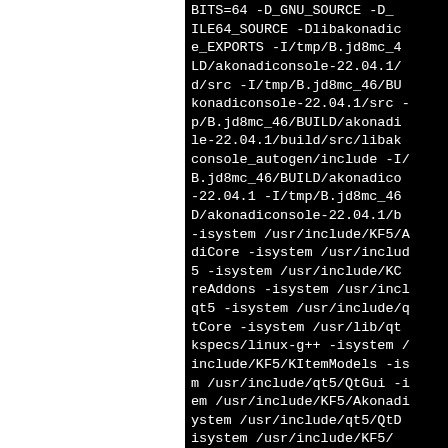BITS=64 -D_GNU_SOURCE -D_FILE64_SOURCE -DlibakonadiconsoleE_EXPORTS -I/tmp/B.jd8mc_46/BUILD/akonadiconsole-22.04.1/d/src -I/tmp/B.jd8mc_46/BUILD/akonadiconsole-22.04.1/src -I/tmp/B.jd8mc_46/BUILD/akonadiconsole-22.04.1/build/src/libakonadiconsole_autogen/include -I/tmp/B.jd8mc_46/BUILD/akonadiconsole-22.04.1 -I/tmp/B.jd8mc_46/BUILD/akonadiconsole-22.04.1/build -isystem /usr/include/KF5/AkonadiCore -isystem /usr/include/KF5 -isystem /usr/include/KF5/KCoreAddons -isystem /usr/include/qt5 -isystem /usr/include/qt5/QtCore -isystem /usr/lib/qt5/mkspecs/linux-g++ -isystem /usr/include/KF5/KItemModels -isystem /usr/include/qt5/QtGui -isystem /usr/include/KF5/Akonadi -isystem /usr/include/qt5/QtD -isystem /usr/include/KF5/